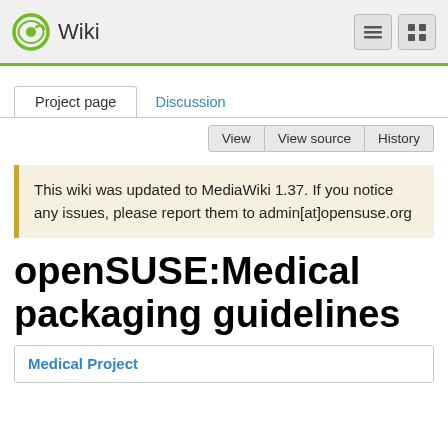Wiki
Project page | Discussion
View  View source  History
This wiki was updated to MediaWiki 1.37. If you notice any issues, please report them to admin[at]opensuse.org
openSUSE:Medical packaging guidelines
Medical Project